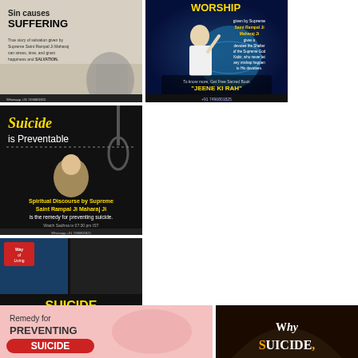[Figure (illustration): Ad: Sin causes SUFFERING - True story of salvation given by Supreme Saint Rampal Ji Maharaj can stress, time, and grant happiness and SALVATION. Whatsapp +91 7496801825]
[Figure (illustration): Ad: WORSHIP given by Supreme Saint Rampal Ji Maharaj Ji gives a devotee the Shelter of the Supreme God Kabir, who never let any mishap happen to His devotees. Get Free Sacred Book JEENE KI RAH Whatsapp +91 7496801825]
[Figure (illustration): Ad: Suicide is Preventable - Spiritual Discourse by Supreme Saint Rampal Ji Maharaj Ji is the remedy for preventing suicide. Watch Sadhna tv 07:30 pm IST. Get Free Sacred Book Gyan Ganga. Whatsapp +91 7496801825]
[Figure (illustration): Ad: SUICIDE IS PREVENTABLE - Way of Living. The sacred book Way of Living (Jeene Ki Rah) written by Supreme Saint Rampal Ji Maharaj Ji is the remedy for preventing suicide. Whatsapp +91 7496801825]
[Figure (illustration): Ad: Remedy for PREVENTING SUICIDE]
[Figure (illustration): Ad: WHY SUICIDE,]